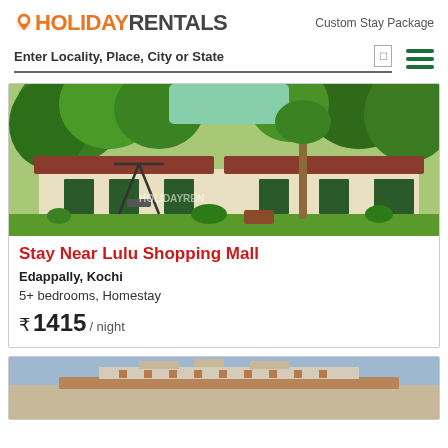HOLIDAYRENTALS — Custom Stay Package
Enter Locality, Place, City or State
[Figure (photo): Outdoor property photo showing a homestay with green trees, lawn, swing set, and a low building with red roof in background. Watermark reads HOLIDAYRENTALS.]
Stay Near Lulu Shopping Mall
Edappally, Kochi
5+ bedrooms, Homestay
₹ 1415 / night
[Figure (photo): Partial view of a second property card showing a building with distinctive roofline against blue sky.]